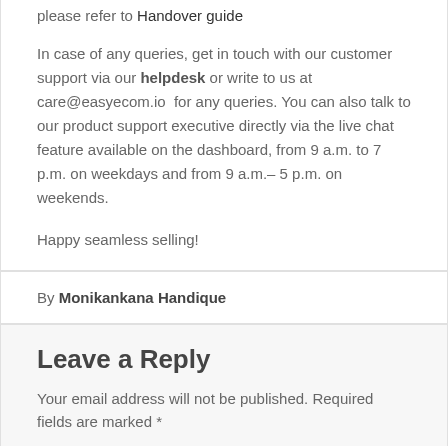please refer to Handover guide

In case of any queries, get in touch with our customer support via our helpdesk or write to us at care@easyecom.io  for any queries. You can also talk to our product support executive directly via the live chat feature available on the dashboard, from 9 a.m. to 7 p.m. on weekdays and from 9 a.m.– 5 p.m. on weekends.

Happy seamless selling!
By Monikankana Handique
Leave a Reply
Your email address will not be published. Required fields are marked *